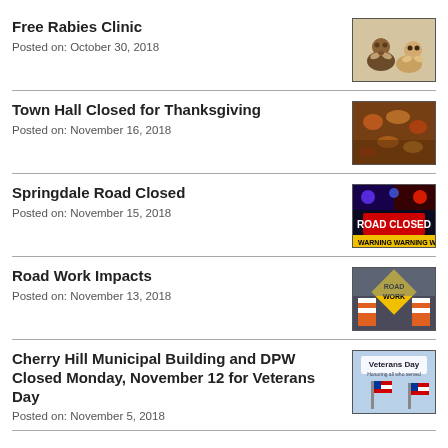Free Rabies Clinic
Posted on: October 30, 2018
[Figure (photo): Two puppies sitting together]
Town Hall Closed for Thanksgiving
Posted on: November 16, 2018
[Figure (photo): Autumn leaves on wooden surface - Thanksgiving theme]
Springdale Road Closed
Posted on: November 15, 2018
[Figure (photo): Road Closed sign with police lights and warning tape]
Road Work Impacts
Posted on: November 13, 2018
[Figure (photo): Road Work diamond sign with orange safety barriers]
Cherry Hill Municipal Building and DPW Closed Monday, November 12 for Veterans Day
Posted on: November 5, 2018
[Figure (photo): Veterans Day image with American flags and sky]